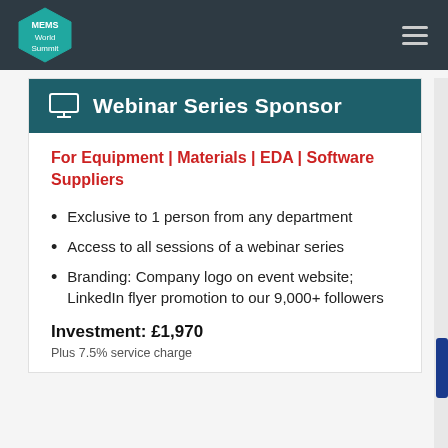MEMS World Summit
Webinar Series Sponsor
For Equipment | Materials | EDA | Software Suppliers
Exclusive to 1 person from any department
Access to all sessions of a webinar series
Branding: Company logo on event website; LinkedIn flyer promotion to our 9,000+ followers
Investment: £1,970
Plus 7.5% service charge